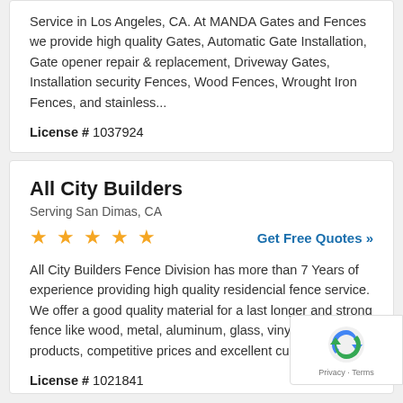Service in Los Angeles, CA. At MANDA Gates and Fences we provide high quality Gates, Automatic Gate Installation, Gate opener repair & replacement, Driveway Gates, Installation security Fences, Wood Fences, Wrought Iron Fences, and stainless...
License # 1037924
All City Builders
Serving San Dimas, CA
★★★★★
Get Free Quotes »
All City Builders Fence Division has more than 7 Years of experience providing high quality residencial fence service. We offer a good quality material for a last longer and strong fence like wood, metal, aluminum, glass, vinyl / eco-friendly products, competitive prices and excellent customer ser.
License # 1021841